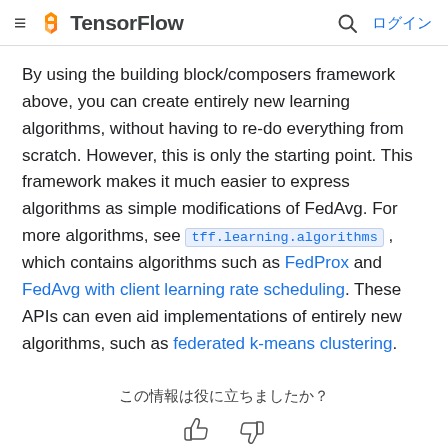TensorFlow  ログイン
By using the building block/composers framework above, you can create entirely new learning algorithms, without having to re-do everything from scratch. However, this is only the starting point. This framework makes it much easier to express algorithms as simple modifications of FedAvg. For more algorithms, see tff.learning.algorithms , which contains algorithms such as FedProx and FedAvg with client learning rate scheduling. These APIs can even aid implementations of entirely new algorithms, such as federated k-means clustering.
この情報は役に立ちましたか？